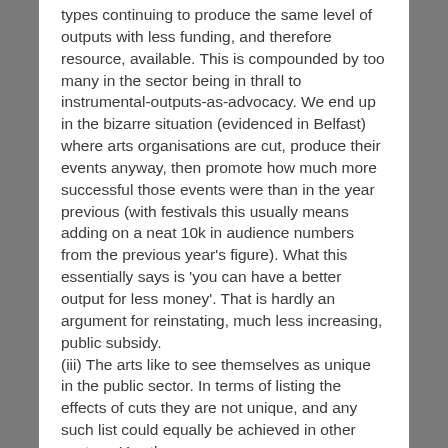types continuing to produce the same level of outputs with less funding, and therefore resource, available. This is compounded by too many in the sector being in thrall to instrumental-outputs-as-advocacy. We end up in the bizarre situation (evidenced in Belfast) where arts organisations are cut, produce their events anyway, then promote how much more successful those events were than in the year previous (with festivals this usually means adding on a neat 10k in audience numbers from the previous year's figure). What this essentially says is 'you can have a better output for less money'. That is hardly an argument for reinstating, much less increasing, public subsidy. (iii) The arts like to see themselves as unique in the public sector. In terms of listing the effects of cuts they are not unique, and any such list could equally be achieved in other sectors. You then